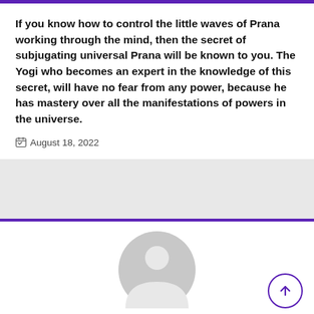If you know how to control the little waves of Prana working through the mind, then the secret of subjugating universal Prana will be known to you. The Yogi who becomes an expert in the knowledge of this secret, will have no fear from any power, because he has mastery over all the manifestations of powers in the universe.
August 18, 2022
[Figure (illustration): Generic user avatar: circular grey silhouette with head and shoulders on white background]
Peter Horttanainen